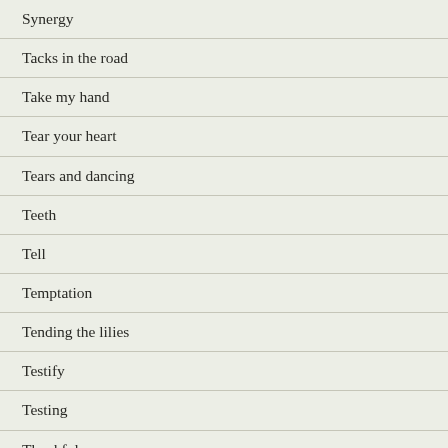Synergy
Tacks in the road
Take my hand
Tear your heart
Tears and dancing
Teeth
Tell
Temptation
Tending the lilies
Testify
Testing
Thankful
Thanks and Praise